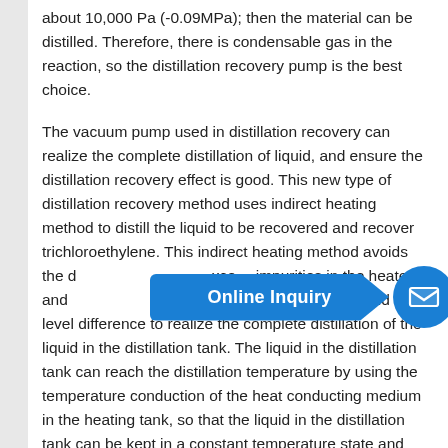about 10,000 Pa (-0.09MPa); then the material can be distilled. Therefore, there is condensable gas in the reaction, so the distillation recovery pump is the best choice.
The vacuum pump used in distillation recovery can realize the complete distillation of liquid, and ensure the distillation recovery effect is good. This new type of distillation recovery method uses indirect heating method to distill the liquid to be recovered and recover trichloroethylene. This indirect heating method avoids the damage caused by excess impurities in the heater, and utilizes the liquid level difference to realize the complete distillation of the liquid in the distillation tank. The liquid in the distillation tank can reach the distillation temperature by using the temperature conduction of the heat conducting medium in the heating tank, so that the liquid in the distillation tank can be kept in a constant temperature state and the phenomenon of over-boiling and uneven heating caused by direct heating can be avoided.